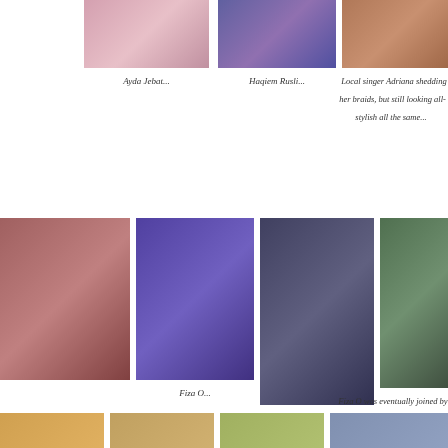[Figure (photo): Ayda Jebat on red carpet]
Ayda Jebat...
[Figure (photo): Haqiem Rusli on red carpet]
Haqiem Rusli...
[Figure (photo): Local singer Adriana on red carpet]
Local singer Adriana shedding her braids, but still looking all-stylish all the same...
[Figure (photo): Two people posing on red carpet]
[Figure (photo): Fiza O posing on red carpet]
Fiza O...
[Figure (photo): Fiza O on red carpet full length]
[Figure (photo): Fiza O with co-host Daniel Mananta]
Fiza O was eventually joined by co-host Daniel Mananta...
[Figure (photo): Bottom row photo 1]
[Figure (photo): Bottom row photo 2]
[Figure (photo): Bottom row photo 3]
[Figure (photo): Bottom row photo 4]